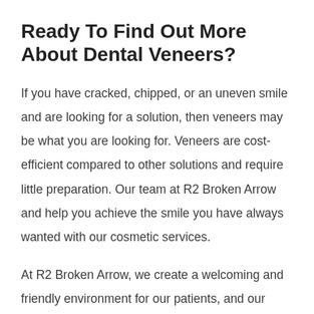Ready To Find Out More About Dental Veneers?
If you have cracked, chipped, or an uneven smile and are looking for a solution, then veneers may be what you are looking for. Veneers are cost-efficient compared to other solutions and require little preparation. Our team at R2 Broken Arrow and help you achieve the smile you have always wanted with our cosmetic services.
At R2 Broken Arrow, we create a welcoming and friendly environment for our patients, and our treatment rooms are equipped with the latest technology. Let our team help you feel comfortable